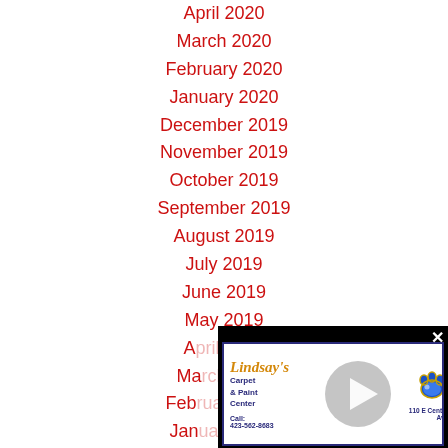April 2020
March 2020
February 2020
January 2020
December 2019
November 2019
October 2019
September 2019
August 2019
July 2019
June 2019
May 2019
April 2019
March 2019
February 2019
January 2019
December 2018
November 2018
[Figure (screenshot): Video advertisement popup for Lindsay's Carpet & Paint Center with play button, paw logo, address 110 E Central Ave., phone 423-562-8683]